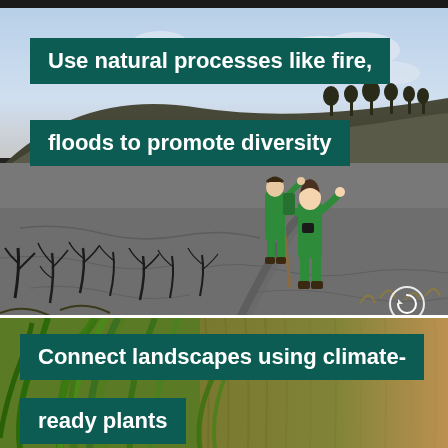[Figure (photo): Two people in bright green outdoor gear walking through a burnt, barren landscape with charred black tree stumps and grey cracked earth, rocky hillside in background under blue sky with clouds.]
Use natural processes like fire, floods to promote diversity
[Figure (photo): Close-up of green plant leaves and dried straw/grass in warm tones, partially visible at bottom of page.]
Connect landscapes using climate-ready plants